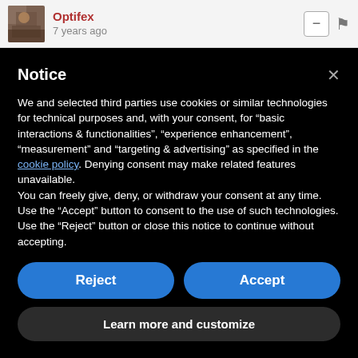Optifex
7 years ago
Notice
We and selected third parties use cookies or similar technologies for technical purposes and, with your consent, for “basic interactions & functionalities”, “experience enhancement”, “measurement” and “targeting & advertising” as specified in the cookie policy. Denying consent may make related features unavailable.
You can freely give, deny, or withdraw your consent at any time.
Use the “Accept” button to consent to the use of such technologies. Use the “Reject” button or close this notice to continue without accepting.
Reject
Accept
Learn more and customize